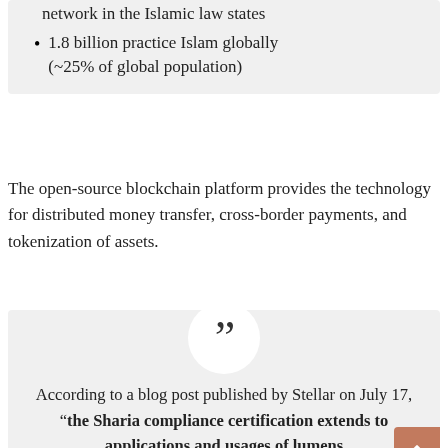network in the Islamic law states
1.8 billion practice Islam globally (~25% of global population)
The open-source blockchain platform provides the technology for distributed money transfer, cross-border payments, and tokenization of assets.
According to a blog post published by Stellar on July 17, “the Sharia compliance certification extends to applications and usages of lumens